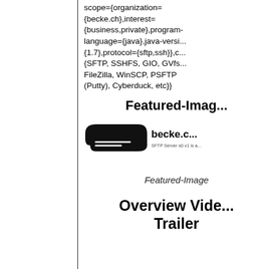scope={organization={becke.ch},interest={business,private},program-language={java},java-version={1.7},protocol={sftp,ssh}},client={SFTP, SSHFS, GIO, GVfs, FileZilla, WinSCP, PSFTP (Putty), Cyberduck, etc}}
Featured-Image
[Figure (logo): becke.ch SFTP Server s0 v1 logo — black shape with text]
Featured-Image
Overview Video Trailer